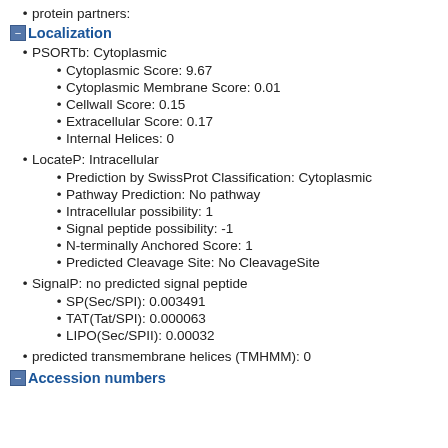protein partners:
Localization
PSORTb: Cytoplasmic
Cytoplasmic Score: 9.67
Cytoplasmic Membrane Score: 0.01
Cellwall Score: 0.15
Extracellular Score: 0.17
Internal Helices: 0
LocateP: Intracellular
Prediction by SwissProt Classification: Cytoplasmic
Pathway Prediction: No pathway
Intracellular possibility: 1
Signal peptide possibility: -1
N-terminally Anchored Score: 1
Predicted Cleavage Site: No CleavageSite
SignalP: no predicted signal peptide
SP(Sec/SPI): 0.003491
TAT(Tat/SPI): 0.000063
LIPO(Sec/SPII): 0.00032
predicted transmembrane helices (TMHMM): 0
Accession numbers